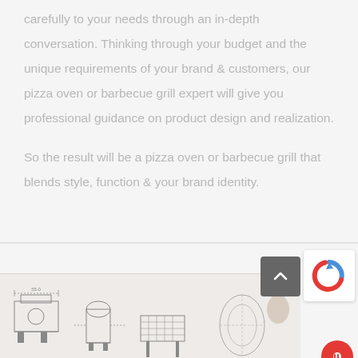carefully to your needs through an in-depth conversation. Thinking through your budget and the unique requirements of your brand & customers, our pizza oven or barbecue grill expert will give you professional guidance on product design and realization.
So the result will be a pizza oven or barbecue grill that blends style, function & your brand identity.
[Figure (engineering-diagram): Engineering/technical drawings of pizza ovens/barbecue grills with OVENDESIGN branding, plus UI overlay elements including a back-to-top arrow button, reCAPTCHA badge, and a red chat bubble icon.]